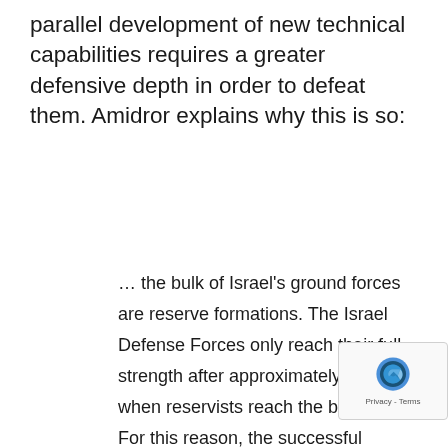parallel development of new technical capabilities requires a greater defensive depth in order to defeat them. Amidror explains why this is so:
… the bulk of Israel's ground forces are reserve formations. The Israel Defense Forces only reach their full strength after approximately 48 hours when reservists reach the battlefield. For this reason, the successful mobilization of the reserves is of exceptional importance, since without them, the Israel Defense Forces lack sufficient power to defend the country. Clearly, the more the deployment sites of the reserve forces are dispersed and distant from one another and from the